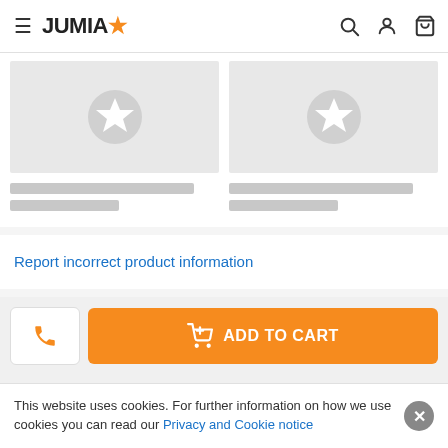JUMIA
[Figure (screenshot): Two product placeholder cards with grey background and star icons, with grey placeholder bars for title and price]
Report incorrect product information
[Figure (other): ADD TO CART button in orange with cart icon, and a phone call button on the left]
You are here
This website uses cookies. For further information on how we use cookies you can read our Privacy and Cookie notice